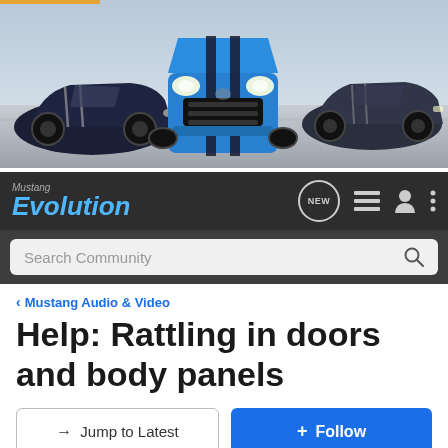[Figure (photo): Banner showing three Ford Mustang Shelby GT vehicles: dark blue on left, bright blue in center (front view), dark grey on right, against a desert/road background.]
Mustang Evolution
Search Community
< Mustang Audio & Video
Help: Rattling in doors and body panels
→ Jump to Latest
+ Follow
1 - 20 of 23 Posts
1 of 2